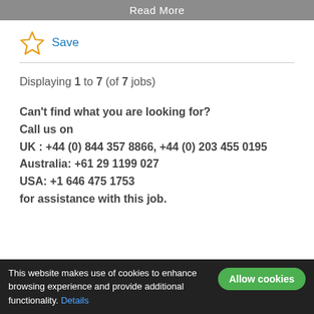Read More
Save
Displaying 1 to 7 (of 7 jobs)
Can't find what you are looking for?
Call us on
UK : +44 (0) 844 357 8866, +44 (0) 203 455 0195
Australia: +61 29 1199 027
USA: +1 646 475 1753
for assistance with this job.
This website makes use of cookies to enhance browsing experience and provide additional functionality. Details  Allow cookies